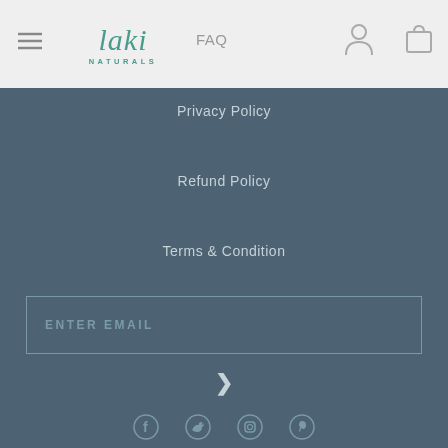FAQ
[Figure (logo): Laki Naturals logo with stylized cursive text and NATURALS subtitle in teal/green color]
Privacy Policy
Refund Policy
Terms & Condition
ENTER EMAIL
>
[Figure (infographic): Social media icons: Facebook, Twitter, Instagram, Pinterest]